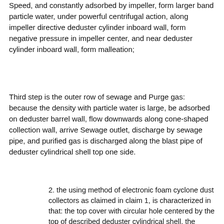Speed, and constantly adsorbed by impeller, form larger band particle water, under powerful centrifugal action, along impeller directive deduster cylinder inboard wall, form negative pressure in impeller center, and near deduster cylinder inboard wall, form malleation;
Third step is the outer row of sewage and Purge gas: because the density with particle water is large, be adsorbed on deduster barrel wall, flow downwards along cone-shaped collection wall, arrive Sewage outlet, discharge by sewage pipe, and purified gas is discharged along the blast pipe of deduster cylindrical shell top one side.
2. the using method of electronic foam cyclone dust collectors as claimed in claim 1, is characterized in that: the top cover with circular hole centered by the top of described deduster cylindrical shell, the circular hole of top cover and the end of air supply duct are coincide with hemispherical corner and be affixed.
3. the using method of electronic foam cyclone dust collectors as claimed in claim 1, is characterized in that: the affixed sewage pipe of end of described conical collector.